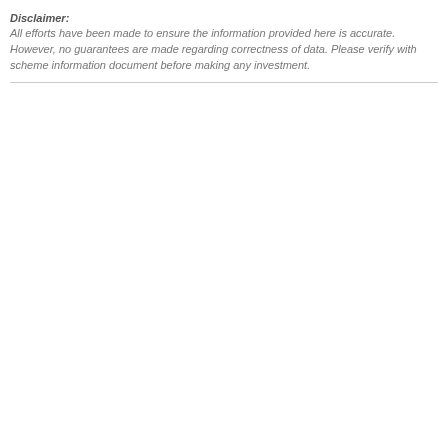Disclaimer: All efforts have been made to ensure the information provided here is accurate. However, no guarantees are made regarding correctness of data. Please verify with scheme information document before making any investment.